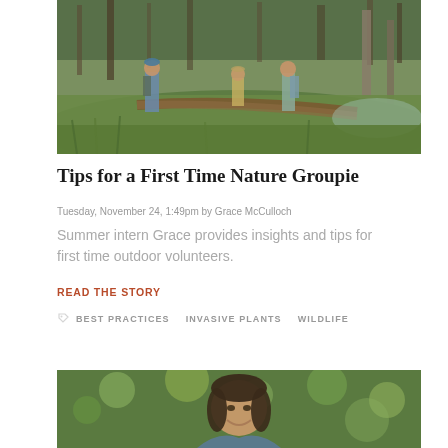[Figure (photo): Three children/teens in a wetland/forest area, sitting and standing on a fallen log surrounded by green marsh grass and trees]
Tips for a First Time Nature Groupie
Tuesday, November 24, 1:49pm by Grace McCulloch
Summer intern Grace provides insights and tips for first time outdoor volunteers.
READ THE STORY
BEST PRACTICES   INVASIVE PLANTS   WILDLIFE
[Figure (photo): A smiling young girl with dark hair in a forest/wooded setting with green bokeh background]